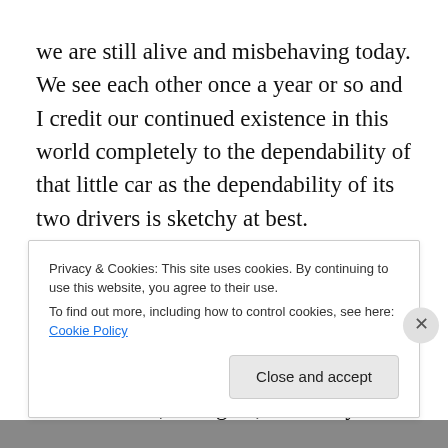we are still alive and misbehaving today. We see each other once a year or so and I credit our continued existence in this world completely to the dependability of that little car as the dependability of its two drivers is sketchy at best.
After college, the VW accompanied me on daily sojourns to the schools where I taught. It never broke down. It never complained. There was of course “that one incident”, but again, it was my fault completely. Around Christmas time, 1975, I was going to the mall in Hazleton
Privacy & Cookies: This site uses cookies. By continuing to use this website, you agree to their use.
To find out more, including how to control cookies, see here: Cookie Policy
Close and accept